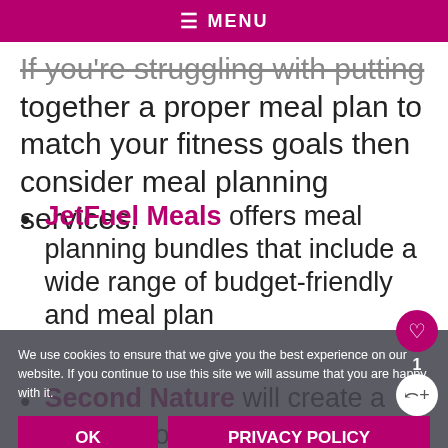≡ MENU
If you're struggling with putting together a proper meal plan to match your fitness goals then consider meal planning services.
JetFuel Meals offers meal planning bundles that include a wide range of budget-friendly and meal plan options.
Second Nature will create a … to rewire your habits and
We use cookies to ensure that we give you the best experience on our website. If you continue to use this site we will assume that you are happy with it.